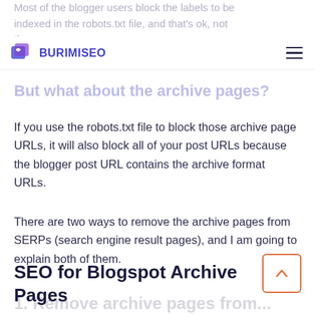Most of the blogger users block the labels to be indexed in the robots.txt file, and that's ok, not th...
BURIMISEO
But what about the archive pages?
If you use the robots.txt file to block those archive page URLs, it will also block all of your post URLs because the blogger post URL contains the archive format URLs.
There are two ways to remove the archive pages from SERPs (search engine result pages), and I am going to explain both of them.
SEO for Blogspot Archive Pages
1. Remove archive pages from...